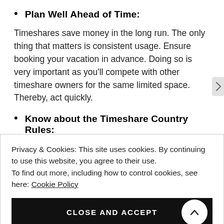Plan Well Ahead of Time:
Timeshares save money in the long run. The only thing that matters is consistent usage. Ensure booking your vacation in advance. Doing so is very important as you'll compete with other timeshare owners for the same limited space. Thereby, act quickly.
Know about the Timeshare Country Rules:
Privacy & Cookies: This site uses cookies. By continuing to use this website, you agree to their use.
To find out more, including how to control cookies, see here: Cookie Policy
CLOSE AND ACCEPT